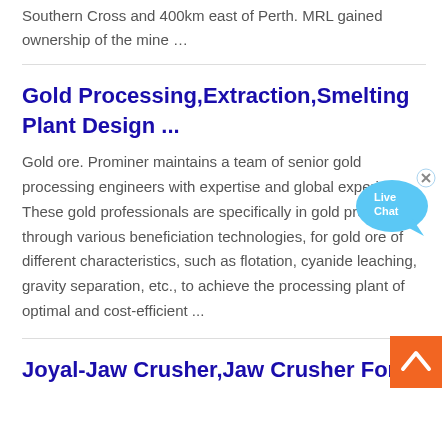Southern Cross and 400km east of Perth. MRL gained ownership of the mine …
Gold Processing,Extraction,Smelting Plant Design ...
Gold ore. Prominer maintains a team of senior gold processing engineers with expertise and global experience. These gold professionals are specifically in gold processing through various beneficiation technologies, for gold ore of different characteristics, such as flotation, cyanide leaching, gravity separation, etc., to achieve the processing plant of optimal and cost-efficient ...
[Figure (illustration): Live Chat speech bubble icon in blue]
[Figure (illustration): Orange back-to-top button with upward chevron arrow]
Joyal-Jaw Crusher,Jaw Crusher For